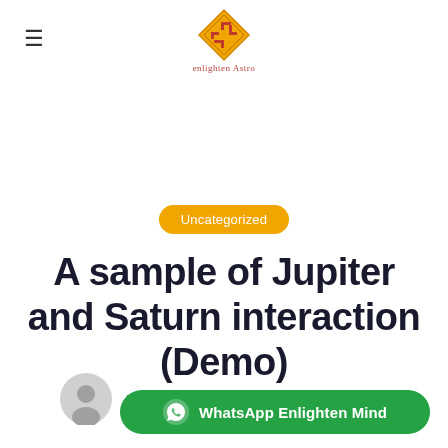[Figure (logo): Enlighten Astro logo: diamond-shaped badge with swastika-like symbol in red/gold colors, with text 'enlighten Astro' below]
Uncategorized
A sample of Jupiter and Saturn interaction (Demo)
Enlighten Mind on January 9, 2021
WhatsApp Enlighten Mind